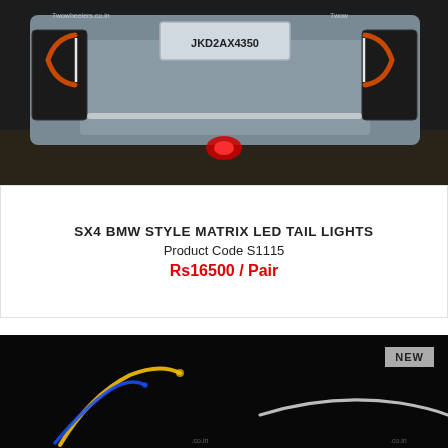[Figure (photo): Car rear view at night showing SX4 with BMW style matrix LED tail lights glowing red and white. License plate JKD2AX4350 visible. Twowhelers.co.in watermark.]
SX4 BMW STYLE MATRIX LED TAIL LIGHTS
Product Code S1115
Rs16500 / Pair
[Figure (photo): Dark background showing LED tail lights with colorful glowing arcs in yellow, blue, and white. Partial watermark visible. NEW badge in top right corner.]